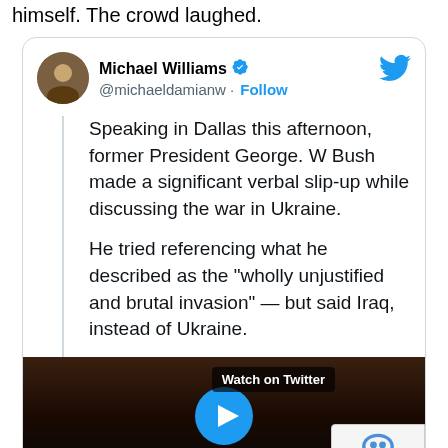himself. The crowd laughed.
[Figure (screenshot): Tweet by Michael Williams (@michaeldamianw) with verified badge and Follow button. Tweet text: 'Speaking in Dallas this afternoon, former President George. W Bush made a significant verbal slip-up while discussing the war in Ukraine. He tried referencing what he described as the "wholly unjustified and brutal invasion" — but said Iraq, instead of Ukraine.' A video thumbnail labeled 'Watch on Twitter' with a play button is shown below the text. A reCAPTCHA badge appears in the bottom right corner.]